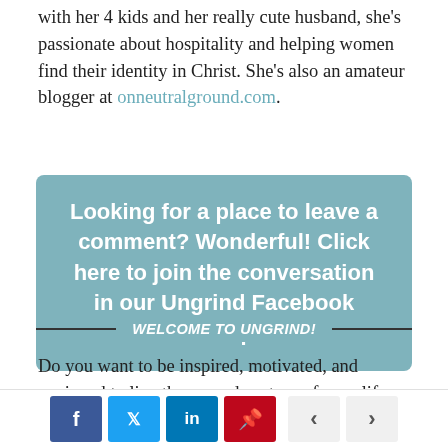with her 4 kids and her really cute husband, she's passionate about hospitality and helping women find their identity in Christ. She's also an amateur blogger at onneutralground.com.
[Figure (infographic): Teal rounded rectangle CTA box with white bold text: Looking for a place to leave a comment? Wonderful! Click here to join the conversation in our Ungrind Facebook Group.]
WELCOME TO UNGRIND!
Do you want to be inspired, motivated, and equipped to live the everyday story of your life well?
[Figure (infographic): Social sharing bar with Facebook (dark blue), Twitter (light blue), LinkedIn (blue), Pinterest (red) icon buttons, and left/right navigation arrows]